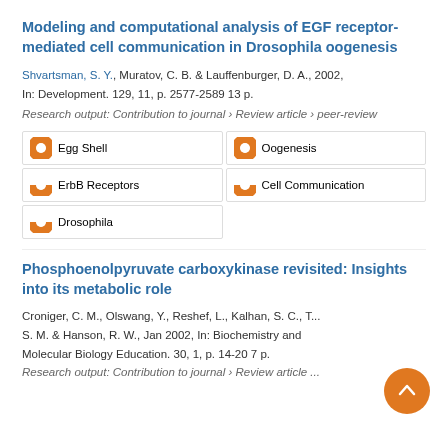Modeling and computational analysis of EGF receptor-mediated cell communication in Drosophila oogenesis
Shvartsman, S. Y., Muratov, C. B. & Lauffenburger, D. A., 2002, In: Development. 129, 11, p. 2577-2589 13 p.
Research output: Contribution to journal › Review article › peer-review
Egg Shell
Oogenesis
ErbB Receptors
Cell Communication
Drosophila
Phosphoenolpyruvate carboxykinase revisited: Insights into its metabolic role
Croniger, C. M., Olswang, Y., Reshef, L., Kalhan, S. C., T... S. M. & Hanson, R. W., Jan 2002, In: Biochemistry and Molecular Biology Education. 30, 1, p. 14-20 7 p.
Research output: Contribution to journal › Review article...